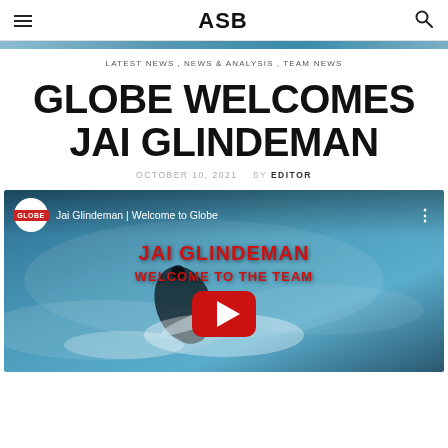ASB
[Figure (photo): Partial top image strip of a surfer/ocean scene]
LATEST NEWS, NEWS & ANALYSIS, TEAM NEWS
GLOBE WELCOMES JAI GLINDEMAN
OCTOBER 10, 2021  BY  EDITOR
[Figure (screenshot): YouTube video thumbnail for 'Jai Glindeman | Welcome to Globe'. Shows a surfer riding a wave with red text 'JAI GLINDEMAN' and 'WELCOME TO THE TEAM', Globe logo circle top left, and a red YouTube play button in center.]